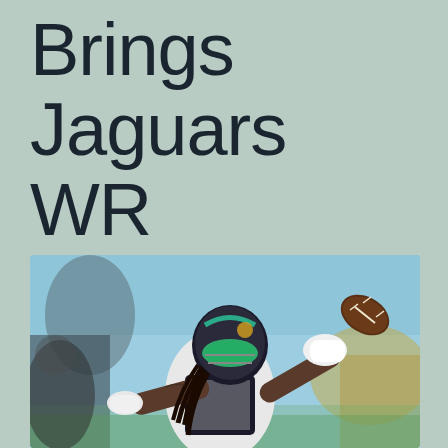Brings Jaguars WR to Dallas
[Figure (photo): A Jacksonville Jaguars wide receiver in black and white uniform with teal accents and helmet, reaching out with gloved hands to catch a football in the air. The background is blurred showing a stadium setting with blue and yellow colors.]